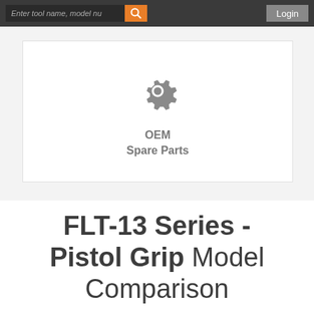Enter tool name, model nu... [search] Login
[Figure (screenshot): OEM Spare Parts card with gear icon in a white card on a gray background]
OEM
Spare Parts
FLT-13 Series - Pistol Grip Model Comparison